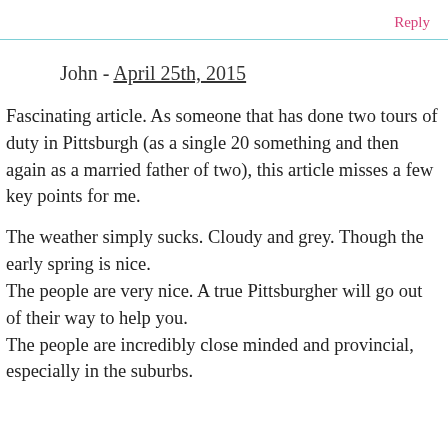Reply
John - April 25th, 2015
Fascinating article. As someone that has done two tours of duty in Pittsburgh (as a single 20 something and then again as a married father of two), this article misses a few key points for me.
The weather simply sucks. Cloudy and grey. Though the early spring is nice.
The people are very nice. A true Pittsburgher will go out of their way to help you.
The people are incredibly close minded and provincial, especially in the suburbs.